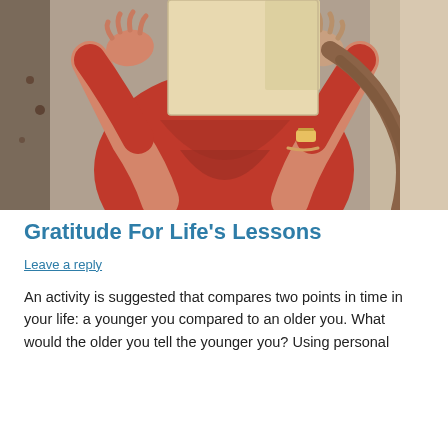[Figure (photo): A person in a red shirt holding up a light-colored book or card in front of their face, obscuring their identity. The person has brown hair and is wearing a watch and bracelet.]
Gratitude For Life’s Lessons
Leave a reply
An activity is suggested that compares two points in time in your life: a younger you compared to an older you. What would the older you tell the younger you? Using personal